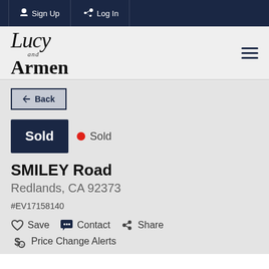Sign Up  Log In
[Figure (logo): Lucy and Armen real estate logo in serif script font]
Back
Sold • Sold
SMILEY Road
Redlands, CA 92373
#EV17158140
Save  Contact  Share
Price Change Alerts